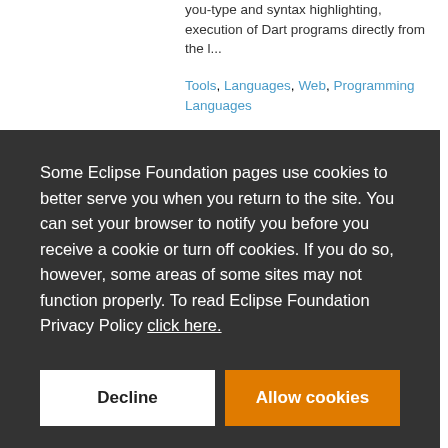you-type and syntax highlighting, execution of Dart programs directly from the l...
Tools, Languages, Web, Programming Languages
Some Eclipse Foundation pages use cookies to better serve you when you return to the site. You can set your browser to notify you before you receive a cookie or turn off cookies. If you do so, however, some areas of some sites may not function properly. To read Eclipse Foundation Privacy Policy click here.
Decline
Allow cookies